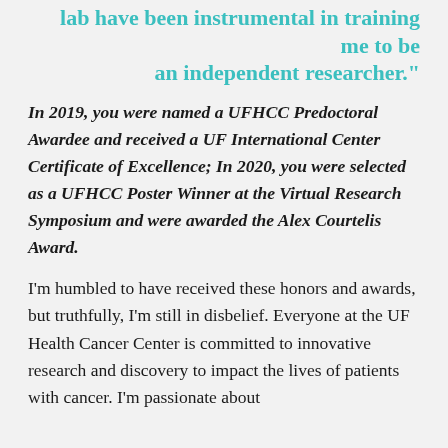lab have been instrumental in training me to be an independent researcher."
In 2019, you were named a UFHCC Predoctoral Awardee and received a UF International Center Certificate of Excellence; In 2020, you were selected as a UFHCC Poster Winner at the Virtual Research Symposium and were awarded the Alex Courtelis Award.
I'm humbled to have received these honors and awards, but truthfully, I'm still in disbelief. Everyone at the UF Health Cancer Center is committed to innovative research and discovery to impact the lives of patients with cancer. I'm passionate about